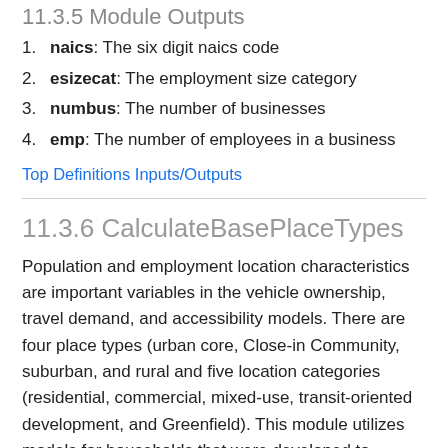11.3.5 Module Outputs
naics: The six digit naics code
esizecat: The employment size category
numbus: The number of businesses
emp: The number of employees in a business
Top Definitions Inputs/Outputs
11.3.6 CalculateBasePlaceTypes
Population and employment location characteristics are important variables in the vehicle ownership, travel demand, and accessibility models. There are four place types (urban core, Close-in Community, suburban, and rural and five location categories (residential, commercial, mixed-use, transit-oriented development, and Greenfield). This module utilizes models for households that were developed to estimate location characteristics using